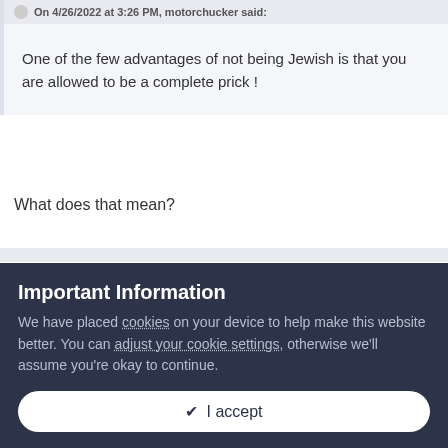On 4/26/2022 at 3:26 PM, motorchucker said:
One of the few advantages of not being Jewish is that you are allowed to be a complete prick !
What does that mean?
TheVat
Posted January 29
Important Information
We have placed cookies on your device to help make this website better. You can adjust your cookie settings, otherwise we'll assume you're okay to continue.
✔ I accept